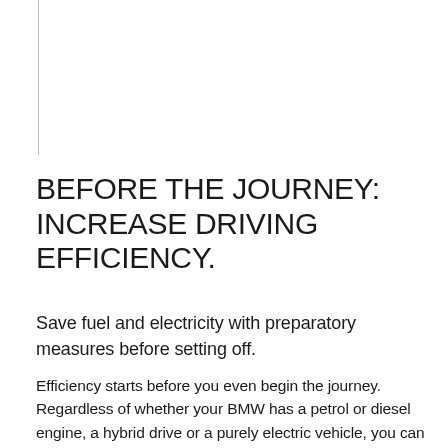BEFORE THE JOURNEY: INCREASE DRIVING EFFICIENCY.
Save fuel and electricity with preparatory measures before setting off.
Efficiency starts before you even begin the journey. Regardless of whether your BMW has a petrol or diesel engine, a hybrid drive or a purely electric vehicle, you can lower your fuel or electricity consumption with